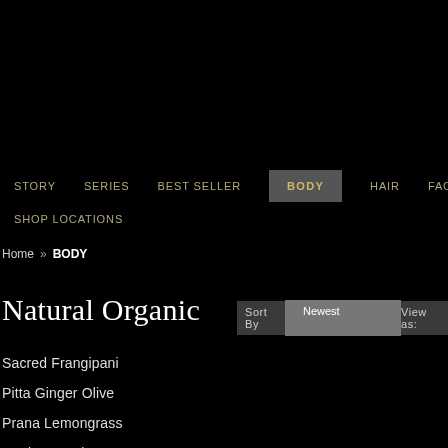STORY   SERIES   BEST SELLER   BODY   HAIR   FACE   B
SHOP LOCATIONS
Home » BODY
Natural Organic
Sort By   Newest   View as:
Sacred Frangipani
Pitta Ginger Olive
Prana Lemongrass
Amrita Jasmine